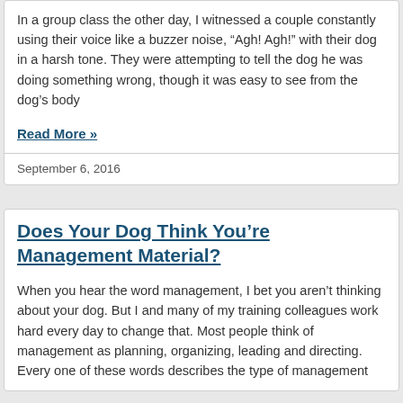In a group class the other day, I witnessed a couple constantly using their voice like a buzzer noise, "Agh! Agh!" with their dog in a harsh tone. They were attempting to tell the dog he was doing something wrong, though it was easy to see from the dog's body
Read More »
September 6, 2016
Does Your Dog Think You're Management Material?
When you hear the word management, I bet you aren't thinking about your dog. But I and many of my training colleagues work hard every day to change that. Most people think of management as planning, organizing, leading and directing. Every one of these words describes the type of management...